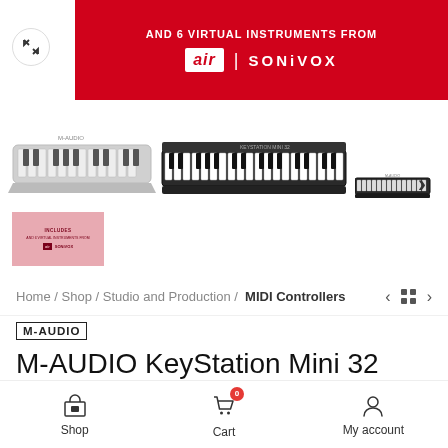[Figure (screenshot): Red banner with text AND 6 VIRTUAL INSTRUMENTS FROM and AIR SONIVOX logos, plus expand icon button]
[Figure (photo): Thumbnail strip showing three M-Audio MIDI keyboard controllers with a next arrow, and a pink promotional badge overlay on the first keyboard]
Home / Shop / Studio and Production / MIDI Controllers
M-AUDIO
M-AUDIO KeyStation Mini 32 MK3
₹6,450
Shop  Cart  My account